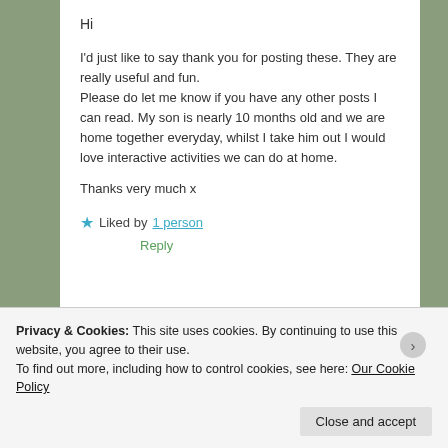Hi
I'd just like to say thank you for posting these. They are really useful and fun. Please do let me know if you have any other posts I can read. My son is nearly 10 months old and we are home together everyday, whilst I take him out I would love interactive activities we can do at home.
Thanks very much x
★ Liked by 1 person
Reply
Privacy & Cookies: This site uses cookies. By continuing to use this website, you agree to their use.
To find out more, including how to control cookies, see here: Our Cookie Policy
Close and accept